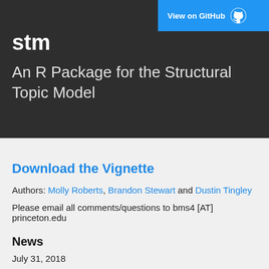[Figure (logo): View on GitHub button with GitHub Octocat logo in blue banner top right]
stm
An R Package for the Structural Topic Model
Download the Vignette
Authors: Molly Roberts, Brandon Stewart and Dustin Tingley
Please email all comments/questions to bms4 [AT] princeton.edu
News
July 31, 2018